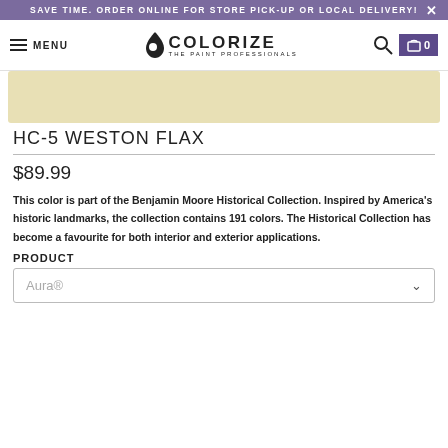SAVE TIME. ORDER ONLINE FOR STORE PICK-UP OR LOCAL DELIVERY!
[Figure (logo): Colorize - The Paint Professionals logo with navigation menu, search icon, and cart]
[Figure (other): Color swatch showing HC-5 Weston Flax paint color, a light creamy yellow]
HC-5 WESTON FLAX
$89.99
This color is part of the Benjamin Moore Historical Collection. Inspired by America's historic landmarks, the collection contains 191 colors. The Historical Collection has become a favourite for both interior and exterior applications.
PRODUCT
Aura®